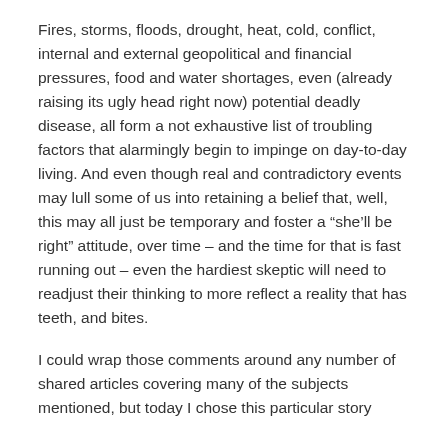Fires, storms, floods, drought, heat, cold, conflict, internal and external geopolitical and financial pressures, food and water shortages, even (already raising its ugly head right now) potential deadly disease, all form a not exhaustive list of troubling factors that alarmingly begin to impinge on day-to-day living. And even though real and contradictory events may lull some of us into retaining a belief that, well, this may all just be temporary and foster a “she’ll be right” attitude, over time – and the time for that is fast running out – even the hardiest skeptic will need to readjust their thinking to more reflect a reality that has teeth, and bites.
I could wrap those comments around any number of shared articles covering many of the subjects mentioned, but today I chose this particular story